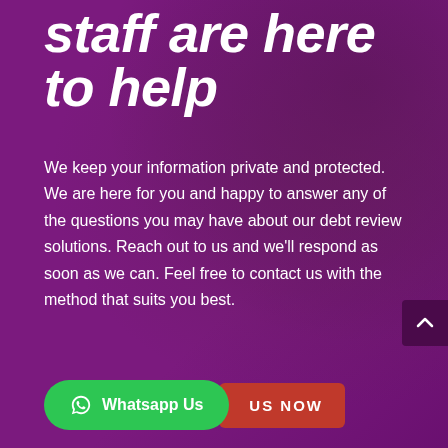staff are here to help
We keep your information private and protected. We are here for you and happy to answer any of the questions you may have about our debt review solutions. Reach out to us and we'll respond as soon as we can. Feel free to contact us with the method that suits you best.
Whatsapp Us
US NOW